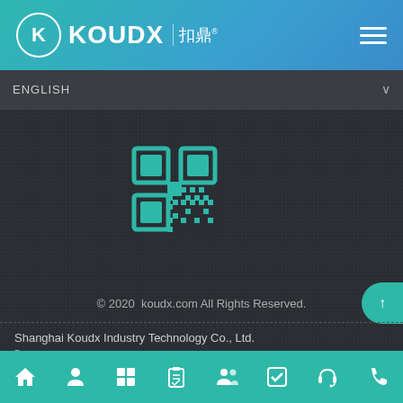KOUDX 扣鼎
ENGLISH
[Figure (other): QR code for koudx.com website, teal/white colored]
© 2020  koudx.com All Rights Reserved.
Shanghai Koudx Industry Technology Co., Ltd.
No.536, Laolu High Way, Pudong, Shanghai, China
[Figure (other): Desktop monitor icon in gray]
Bottom navigation bar with icons: home, person, grid, clipboard, people, checkmark, headset, phone